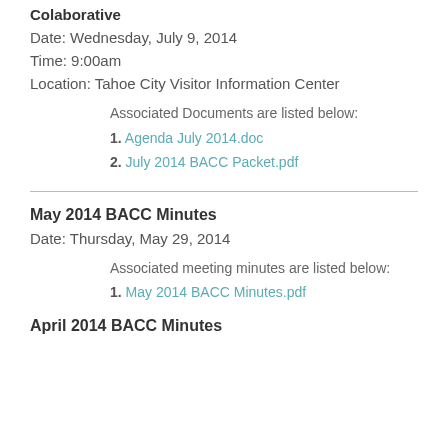Colaborative
Date: Wednesday, July 9, 2014
Time: 9:00am
Location: Tahoe City Visitor Information Center
Associated Documents are listed below:
1. Agenda July 2014.doc
2. July 2014 BACC Packet.pdf
May 2014 BACC Minutes
Date: Thursday, May 29, 2014
Associated meeting minutes are listed below:
1. May 2014 BACC Minutes.pdf
April 2014 BACC Minutes